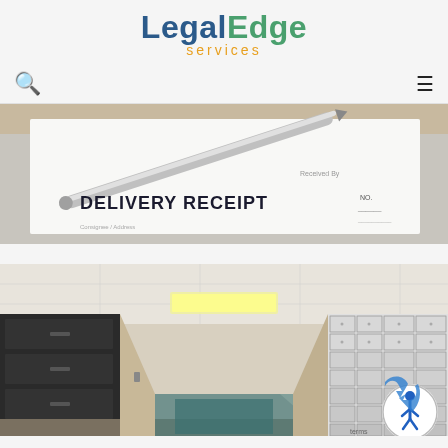[Figure (logo): LegalEdge Services logo with 'Legal' in dark blue, 'Edge' in green, and 'services' in orange below]
[Figure (photo): Close-up photo of a delivery receipt document with a silver pen resting on it. The document reads 'DELIVERY RECEIPT' in bold text.]
[Figure (photo): Interior hallway of an office or storage facility with filing cabinets on the left and rows of white mail/safe deposit boxes on the right, with drop ceiling lighting.]